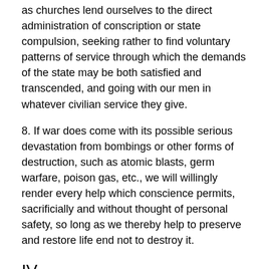as churches lend ourselves to the direct administration of conscription or state compulsion, seeking rather to find voluntary patterns of service through which the demands of the state may be both satisfied and transcended, and going with our men in whatever civilian service they give.
8. If war does come with its possible serious devastation from bombings or other forms of destruction, such as atomic blasts, germ warfare, poison gas, etc., we will willingly render every help which conscience permits, sacrificially and without thought of personal safety, so long as we thereby help to preserve and restore life end not to destroy it.
IV
While we are deeply grateful to God for the precious heritage of faith including the principle of love and nonresistance,* which our Swiss, Dutch, and German Anabaptist-Mennonite forefathers purchased for us by their